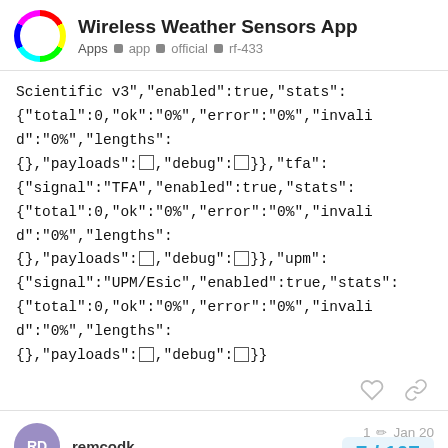Wireless Weather Sensors App  Apps  app  official  rf-433
Scientific v3","enabled":true,"stats": {"total":0,"ok":"0%","error":"0%","invalid":"0%","lengths": {},"payloads":[]},"debug":[]},"tfa": {"signal":"TFA","enabled":true,"stats": {"total":0,"ok":"0%","error":"0%","invalid":"0%","lengths": {},"payloads":[]},"debug":[]}},"upm": {"signal":"UPM/Esic","enabled":true,"stats": {"total":0,"ok":"0%","error":"0%","invalid":"0%","lengths": {},"payloads":[]},"debug":[]}}
remcodk   1  Jan 20   7 / 107